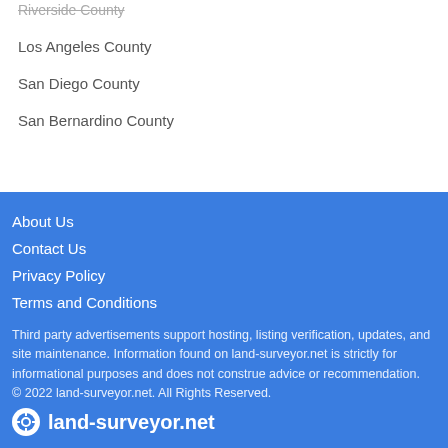Riverside County
Los Angeles County
San Diego County
San Bernardino County
About Us
Contact Us
Privacy Policy
Terms and Conditions
Third party advertisements support hosting, listing verification, updates, and site maintenance. Information found on land-surveyor.net is strictly for informational purposes and does not construe advice or recommendation.
© 2022 land-surveyor.net. All Rights Reserved.
[Figure (logo): land-surveyor.net logo with circular icon and white text]